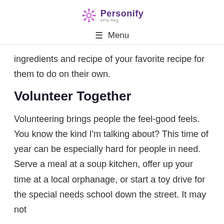Personify ePly Reg
≡ Menu
ingredients and recipe of your favorite recipe for them to do on their own.
Volunteer Together
Volunteering brings people the feel-good feels. You know the kind I'm talking about? This time of year can be especially hard for people in need. Serve a meal at a soup kitchen, offer up your time at a local orphanage, or start a toy drive for the special needs school down the street. It may not